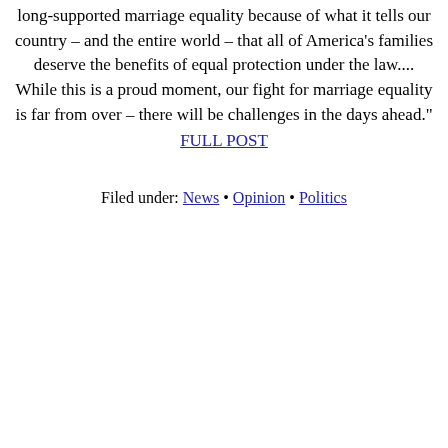long-supported marriage equality because of what it tells our country – and the entire world – that all of America's families deserve the benefits of equal protection under the law.... While this is a proud moment, our fight for marriage equality is far from over – there will be challenges in the days ahead."
FULL POST
Filed under: News • Opinion • Politics